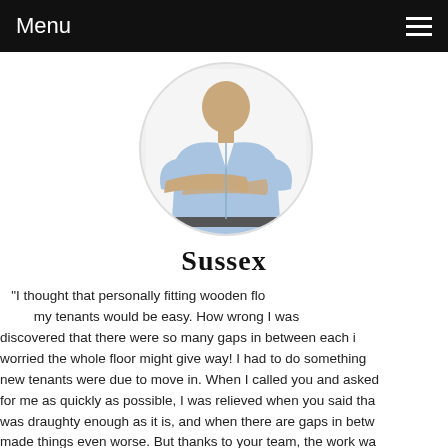Menu
[Figure (photo): Circular cropped photo of a man in a light blue shirt with arms crossed, shown from waist up against a white background]
Sussex
"I thought that personally fitting wooden flo... my tenants would be easy. How wrong I was... discovered that there were so many gaps in between each i... worried the whole floor might give way! I had to do something... new tenants were due to move in. When I called you and asked... for me as quickly as possible, I was relieved when you said tha... was draughty enough as it is, and when there are gaps in betw... made things even worse. But thanks to your team, the work wa... a really high standard, and the property was very comfortable... was noticeable was when the window was open! If I decide to... other properties and the same situation happens again,
Matthew Fleming, Sussex